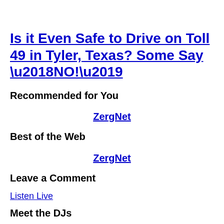Is it Even Safe to Drive on Toll 49 in Tyler, Texas? Some Say ‘NO!’
Recommended for You
ZergNet
Best of the Web
ZergNet
Leave a Comment
Listen Live
Meet the DJs
[Figure (photo): Two small photos of DJs at bottom of page]